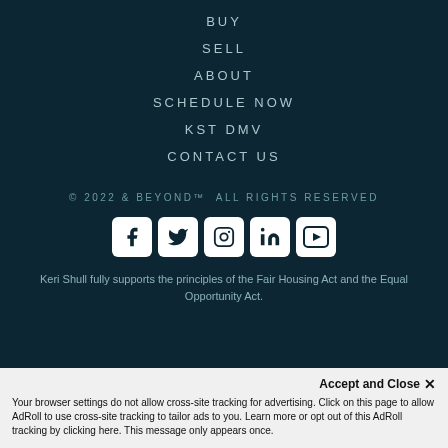BUY
SELL
ABOUT
SCHEDULE NOW
KST DMV
CONTACT US
© 2022 & BEYOND™  ALL RIGHTS RESERVED
[Figure (other): Social media icons: Facebook, Twitter, Instagram, LinkedIn, YouTube]
Keri Shull fully supports the principles of the Fair Housing Act and the Equal Opportunity Act.
Accept and Close ✕
Your browser settings do not allow cross-site tracking for advertising. Click on this page to allow AdRoll to use cross-site tracking to tailor ads to you. Learn more or opt out of this AdRoll tracking by clicking here. This message only appears once.